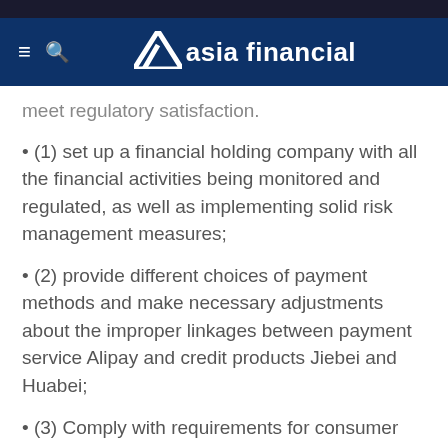asia financial
meet regulatory satisfaction.
• (1) set up a financial holding company with all the financial activities being monitored and regulated, as well as implementing solid risk management measures;
• (2) provide different choices of payment methods and make necessary adjustments about the improper linkages between payment service Alipay and credit products Jiebei and Huabei;
• (3) Comply with requirements for consumer credit data protection;